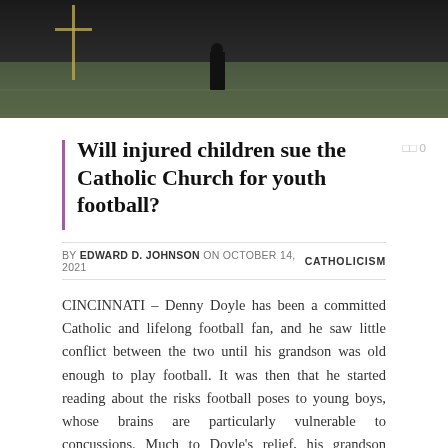[Figure (photo): Outdoor football field scene, dark photo showing a person standing on grass near a goal post]
Will injured children sue the Catholic Church for youth football?
BY EDWARD D. JOHNSON ON OCTOBER 14, 2021   CATHOLICISM
CINCINNATI – Denny Doyle has been a committed Catholic and lifelong football fan, and he saw little conflict between the two until his grandson was old enough to play football. It was then that he started reading about the risks football poses to young boys, whose brains are particularly vulnerable to concussions. Much to Doyle's relief, his grandson opted for flag football.
But Doyle with his eyes open saw a bigger problem: The Roman